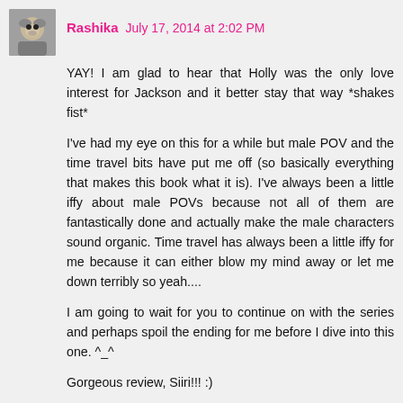[Figure (photo): Small avatar photo of a lemur or similar animal]
Rashika  July 17, 2014 at 2:02 PM
YAY! I am glad to hear that Holly was the only love interest for Jackson and it better stay that way *shakes fist*
I've had my eye on this for a while but male POV and the time travel bits have put me off (so basically everything that makes this book what it is). I've always been a little iffy about male POVs because not all of them are fantastically done and actually make the male characters sound organic. Time travel has always been a little iffy for me because it can either blow my mind away or let me down terribly so yeah....
I am going to wait for you to continue on with the series and perhaps spoil the ending for me before I dive into this one. ^_^
Gorgeous review, Siiri!!! :)
Rashika @ The Social Potato
Reply